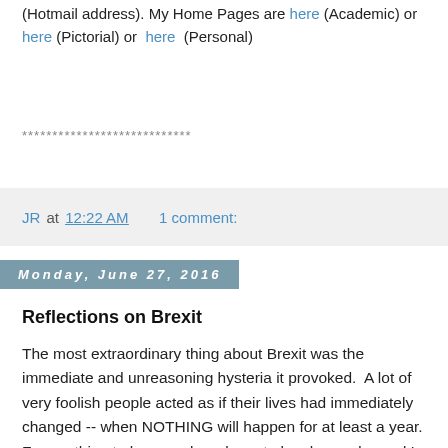(Hotmail address). My Home Pages are here (Academic) or here (Pictorial) or here (Personal)
****************************
JR at 12:22 AM    1 comment:
Monday, June 27, 2016
Reflections on Brexit
The most extraordinary thing about Brexit was the immediate and unreasoning hysteria it provoked.  A lot of very foolish people acted as if their lives had immediately changed -- when NOTHING will happen for at least a year. For anything to happen, laws have to be changed -- and I am sure that we all know what a glacial process that can be. Still, the